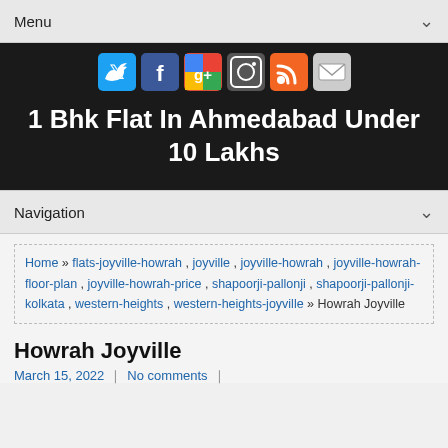Menu
[Figure (other): Social media icons row: Twitter, Facebook, Google+, Instagram, RSS, Email]
1 Bhk Flat In Ahmedabad Under 10 Lakhs
Navigation
Home » flats-joyville-howrah , joyville , joyville-howrah , joyville-howrah-floor-plan , joyville-howrah-price , shapoorji-pallonji , shapoorji-pallonji-kolkata , western-heights , western-heights-joyville » Howrah Joyville
Howrah Joyville
March 15, 2022 | No comments |